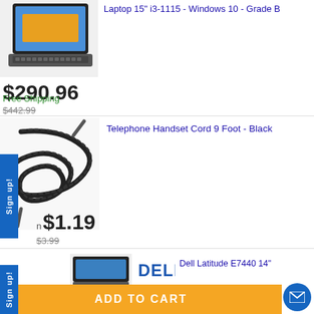[Figure (photo): Laptop computer (top, partially cut off) - product photo]
Laptop 15" i3-1115 - Windows 10 - Grade B
$290.96
$442.99
Free Shipping
[Figure (photo): Telephone handset coiled cord - black, 9 foot]
Telephone Handset Cord 9 Foot - Black
$1.19
$3.99
[Figure (photo): Dell laptop bottom, partially visible, with Dell logo]
Dell Latitude E7440 14"
ADD TO CART